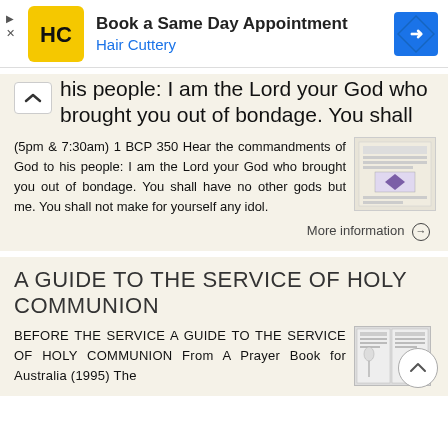[Figure (screenshot): Hair Cuttery advertisement banner with HC logo, 'Book a Same Day Appointment' title, and navigation arrow icon]
his people: I am the Lord your God who brought you out of bondage. You shall
(5pm & 7:30am) 1 BCP 350 Hear the commandments of God to his people: I am the Lord your God who brought you out of bondage. You shall have no other gods but me. You shall not make for yourself any idol.
More information →
A GUIDE TO THE SERVICE OF HOLY COMMUNION
BEFORE THE SERVICE A GUIDE TO THE SERVICE OF HOLY COMMUNION From A Prayer Book for Australia (1995) The